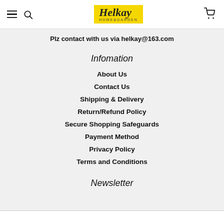Helkay HOME&GARDEN
Plz contact with us via helkay@163.com
Infomation
About Us
Contact Us
Shipping & Delivery
Return/Refund Policy
Secure Shopping Safeguards
Payment Method
Privacy Policy
Terms and Conditions
Newsletter